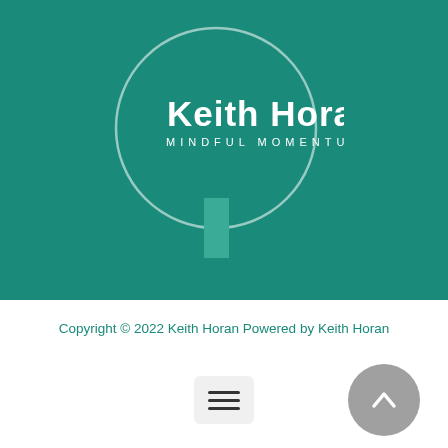[Figure (logo): Keith Horan Mindful Momentum logo: white circle outline on teal background with text 'Keith Horan' in large white letters and 'MINDFUL MOMENTUM' in smaller spaced white capitals, with a teal rectangle below forming a lollipop/balloon shape]
Copyright © 2022 Keith Horan Powered by Keith Horan